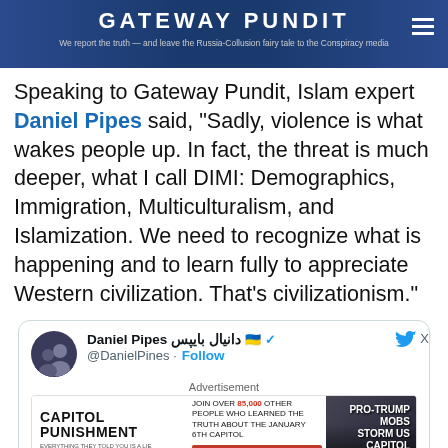GATEWAY PUNDIT — We report the truth — and leave the Russia-Collusion fairy tale to the Conspiracy media
Speaking to Gateway Pundit, Islam expert Daniel Pipes said, “Sadly, violence is what wakes people up. In fact, the threat is much deeper, what I call DIMI: Demographics, Immigration, Multiculturalism, and Islamization. We need to recognize what is happening and to learn fully to appreciate Western civilization. That’s civilizationism.”
[Figure (screenshot): Tweet card from Daniel Pipes (@DanielPines) with Follow button and Twitter bird logo, followed by an advertisement for 'Capitol Punishment' with text 'JOIN OVER 85,000 OTHER PEOPLE WHO LEARNED THE TRUTH ABOUT THE JANUARY 6TH CAPITOL' and 'PRO-TRUMP MOBS STORM US CAPITOL' with WATCH NOW button]